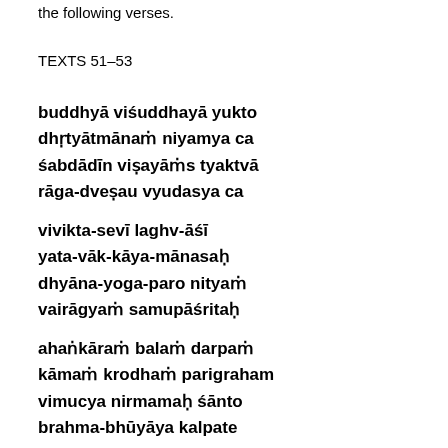the following verses.
TEXTS 51–53
buddhyā viśuddhayā yukto
dhṛtyātmānaṁ niyamya ca
śabdādīn viṣayāṁs tyaktvā
rāga-dveṣau vyudasya ca
vivikta-sevī laghv-āśī
yata-vāk-kāya-mānasaḥ
dhyāna-yoga-paro nityaṁ
vairāgyaṁ samupāśritaḥ
ahaṅkāraṁ balaṁ darpaṁ
kāmaṁ krodhaṁ parigraham
vimucya nirmamaḥ śānto
brahma-bhūyāya kalpate